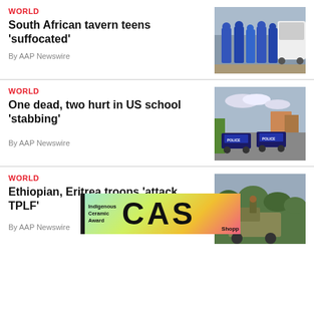WORLD
South African tavern teens 'suffocated'
By AAP Newswire
[Figure (photo): People in blue forensic suits standing near a white vehicle]
WORLD
One dead, two hurt in US school 'stabbing'
By AAP Newswire
[Figure (photo): Police cars parked in a lot with trees and buildings in background]
WORLD
Ethiopian, Eritrea troops 'attack TPLF'
By AAP Newswire
[Figure (photo): Military truck with soldier on top in green landscape]